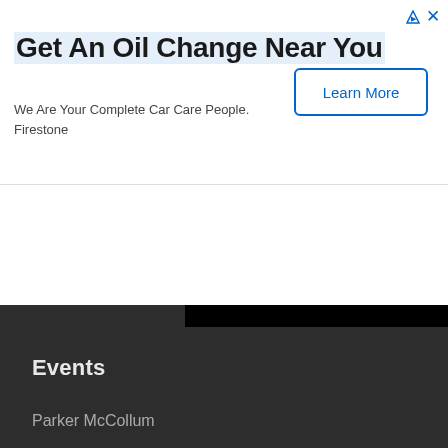[Figure (screenshot): Advertisement banner for Firestone oil change service with 'Learn More' button]
Get An Oil Change Near You
We Are Your Complete Car Care People.
Firestone
Events
Parker McCollum